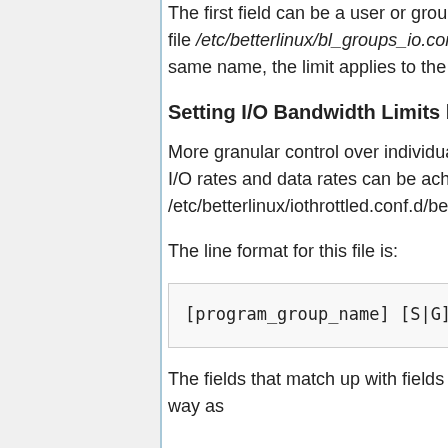The first field can be a user or group name. Groups are defined in the file /etc/betterlinux/bl_groups_io.conf. If a group and a user have the same name, the limit applies to the user.
Setting I/O Bandwidth Limits by Program-Group
More granular control over individual programs' usage of block device I/O rates and data rates can be achieved using the /etc/betterlinux/iothrottled.conf.d/betterlinux-io.conf file.
The line format for this file is:
[program_group_name] [S|G] [bw
The fields that match up with fields in bl_io.conf are defined the same way as